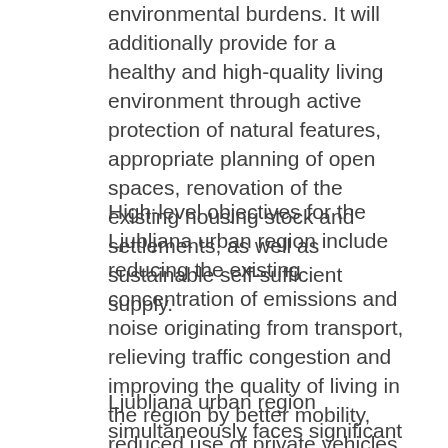environmental burdens. It will additionally provide for a healthy and high-quality living environment through active protection of natural features, appropriate planning of open spaces, renovation of the existing housing stock and settlements, as well as sustainable self-sufficient supply.
High-level objectives for the Ljubljana urban region include reducing the existing concentration of emissions and noise originating from transport, relieving traffic congestion and improving the quality of living in the region by better mobility, reduced use of private vehicles and a modal shift to public transport and non-motorised modes of travel.
Ljubljana urban region simultaneously faces significant challenges in managing its variable